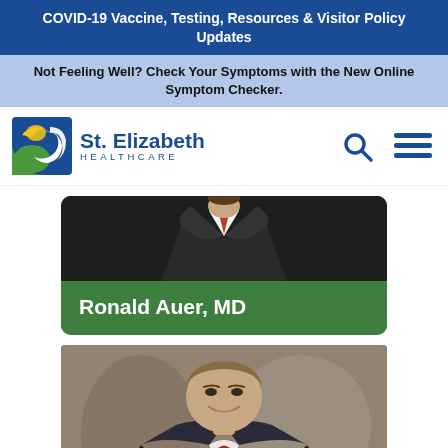COVID-19 Vaccine, Testing, Resources & Visitor Policy Updates
Not Feeling Well? Check Your Symptoms with the New Online Symptom Checker.
[Figure (logo): St. Elizabeth Healthcare logo with icon and text]
Ronald Auer, MD
[Figure (photo): Professional headshot of Dr. Ronald Auer, MD, a man in a suit with a red tie, smiling, against a gray-brown background]